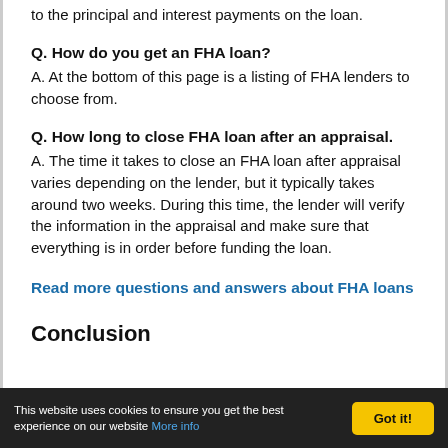to the principal and interest payments on the loan.
Q. How do you get an FHA loan?
A. At the bottom of this page is a listing of FHA lenders to choose from.
Q. How long to close FHA loan after an appraisal.
A. The time it takes to close an FHA loan after appraisal varies depending on the lender, but it typically takes around two weeks. During this time, the lender will verify the information in the appraisal and make sure that everything is in order before funding the loan.
Read more questions and answers about FHA loans
Conclusion
This website uses cookies to ensure you get the best experience on our website More info